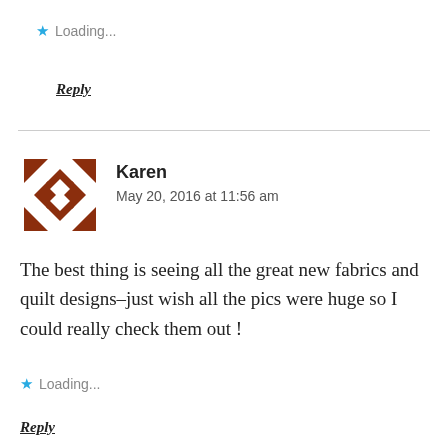★ Loading...
Reply
[Figure (illustration): User avatar icon with brown geometric cross/star shape]
Karen
May 20, 2016 at 11:56 am
The best thing is seeing all the great new fabrics and quilt designs–just wish all the pics were huge so I could really check them out !
★ Loading...
Reply